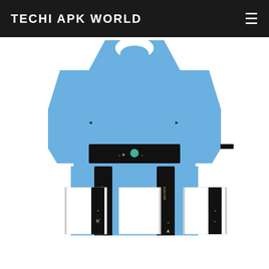TECHI APK WORLD
[Figure (illustration): Football/soccer kit template showing a light blue jersey with black stripes and black belt area with gold logos, plus two pairs of white shorts with black stripes. The kit appears to be for Lazio or similar team in a Dream League Soccer style flat layout.]